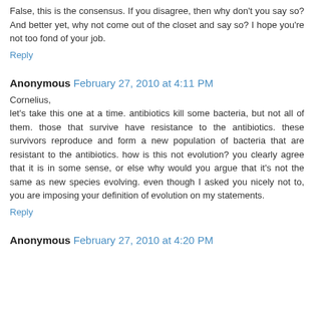False, this is the consensus. If you disagree, then why don't you say so? And better yet, why not come out of the closet and say so? I hope you're not too fond of your job.
Reply
Anonymous February 27, 2010 at 4:11 PM
Cornelius,
let's take this one at a time. antibiotics kill some bacteria, but not all of them. those that survive have resistance to the antibiotics. these survivors reproduce and form a new population of bacteria that are resistant to the antibiotics. how is this not evolution? you clearly agree that it is in some sense, or else why would you argue that it's not the same as new species evolving. even though I asked you nicely not to, you are imposing your definition of evolution on my statements.
Reply
Anonymous February 27, 2010 at 4:20 PM